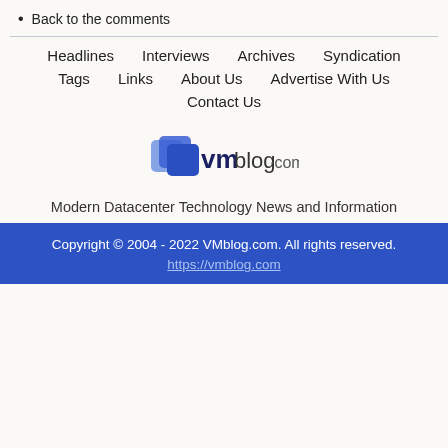Back to the comments
Headlines  Interviews  Archives  Syndication  Tags  Links  About Us  Advertise With Us  Contact Us
[Figure (logo): VMblog.com logo with blue layered squares and text]
Modern Datacenter Technology News and Information
Copyright © 2004 - 2022 VMblog.com. All rights reserved.
https://vmblog.com